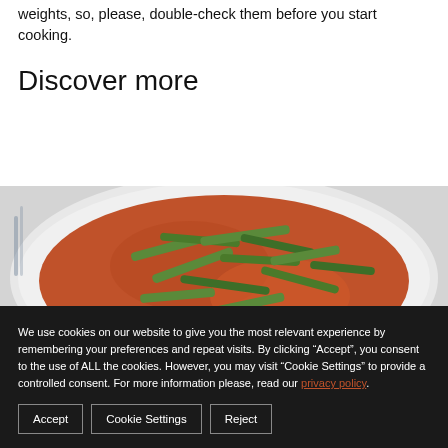weights, so, please, double-check them before you start cooking.
Discover more
[Figure (photo): A white plate filled with a red tomato-based stew containing green beans and other vegetables, photographed from above.]
We use cookies on our website to give you the most relevant experience by remembering your preferences and repeat visits. By clicking “Accept”, you consent to the use of ALL the cookies. However, you may visit "Cookie Settings" to provide a controlled consent. For more information please, read our privacy policy.
Accept
Cookie Settings
Reject